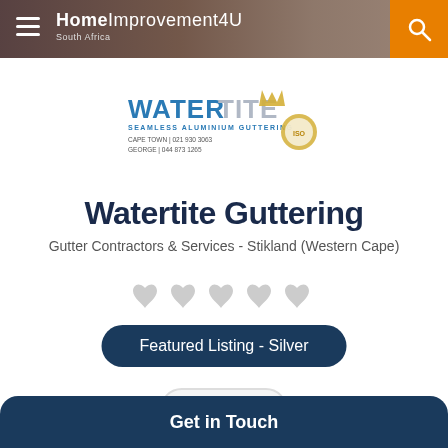HomeImprovement4U South Africa
[Figure (logo): Watertite Seamless Aluminium Guttering logo with crown graphic and contact numbers]
Watertite Guttering
Gutter Contractors & Services - Stikland (Western Cape)
[Figure (other): 5 heart icons representing rating (all empty/grey)]
Featured Listing - Silver
Save
Get in Touch